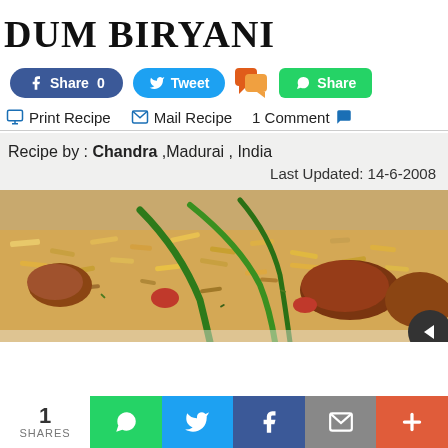DUM BIRYANI
Share 0   Tweet   [comment icon]   Share
Print Recipe   Mail Recipe   1 Comment
Recipe by : Chandra ,Madurai , India
Last Updated: 14-6-2008
[Figure (photo): A plate of Dum Biryani with rice, chicken pieces, and green peppers garnish]
1 SHARES   [WhatsApp] [Twitter] [Facebook] [Mail] [More]